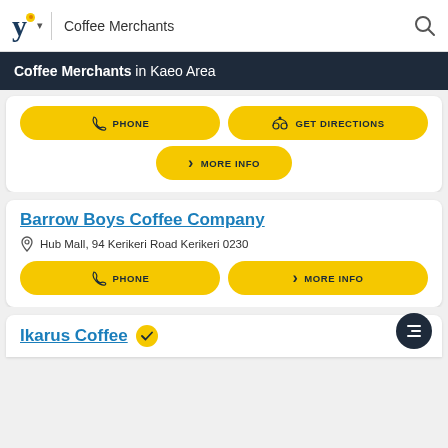Coffee Merchants
Coffee Merchants in Kaeo Area
[Figure (screenshot): Yellow action buttons: PHONE, GET DIRECTIONS, MORE INFO for a coffee merchant listing]
Barrow Boys Coffee Company
Hub Mall, 94 Kerikeri Road Kerikeri 0230
[Figure (screenshot): Yellow action buttons: PHONE, MORE INFO for Barrow Boys Coffee Company]
Ikarus Coffee